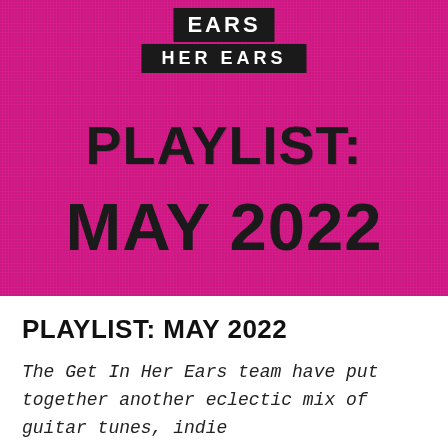[Figure (illustration): Magenta/hot pink textured banner with 'Get In Her Ears' logo (two black rectangular blocks: top reading 'EARS' partially visible, bottom reading 'HER EARS') and large bold black text 'PLAYLIST: MAY 2022' on pink knitted or fabric texture background]
PLAYLIST: MAY 2022
The Get In Her Ears team have put together another eclectic mix of guitar tunes, indie